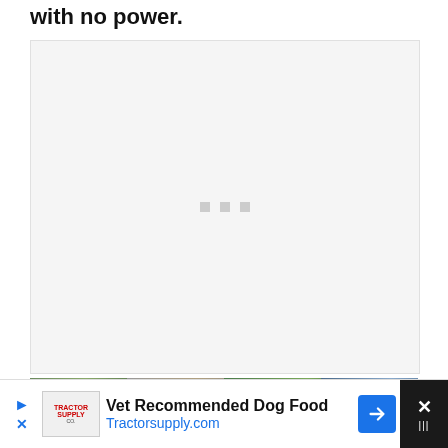with no power.
[Figure (other): Large light gray media placeholder box with three small gray square dots centered in the middle, indicating an unloaded video or image player.]
[Figure (photo): Partial photograph strip showing outdoor scene with trees, foliage, a road or structure, and utility pole visible at the bottom of the page.]
Vet Recommended Dog Food
Tractorsupply.com